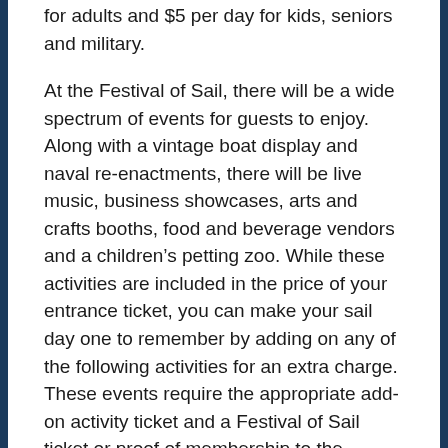for adults and $5 per day for kids, seniors and military.
At the Festival of Sail, there will be a wide spectrum of events for guests to enjoy. Along with a vintage boat display and naval re-enactments, there will be live music, business showcases, arts and crafts booths, food and beverage vendors and a children's petting zoo. While these activities are included in the price of your entrance ticket, you can make your sail day one to remember by adding on any of the following activities for an extra charge. These events require the appropriate add-on activity ticket and a Festival of Sail ticket or proof of membership to the Maritime Museum:
Tall Ship Parade